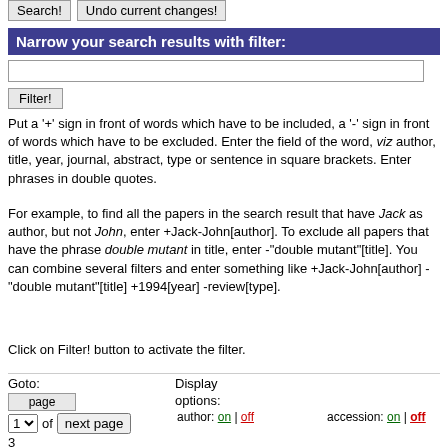Search! | Undo current changes!
Narrow your search results with filter:
Put a '+' sign in front of words which have to be included, a '-' sign in front of words which have to be excluded. Enter the field of the word, viz author, title, year, journal, abstract, type or sentence in square brackets. Enter phrases in double quotes.
For example, to find all the papers in the search result that have Jack as author, but not John, enter +Jack-John[author]. To exclude all papers that have the phrase double mutant in title, enter -"double mutant"[title]. You can combine several filters and enter something like +Jack-John[author] -"double mutant"[title] +1994[year] -review[type].
Click on Filter! button to activate the filter.
Goto:
Display options:
author: on | off   accession: on | off   type: on | off   abstract: on | off
citation: on | off   journal: on | off   year: on | off   supplement: on | off
searchterm-highlighting:   matching sentences:   entries/page: